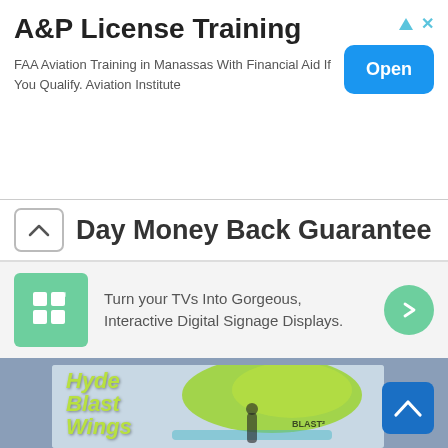[Figure (infographic): Advertisement banner: A&P License Training. FAA Aviation Training in Manassas With Financial Aid If You Qualify. Aviation Institute. Blue 'Open' button on the right.]
Day Money Back Guarantee
[Figure (infographic): Advertisement for digital signage: green grid icon on left, text 'Turn your TVs Into Gorgeous, Interactive Digital Signage Displays.', green circular arrow button on right.]
[Figure (photo): Photo of a person wing foiling on water holding a large green Hyde Blast Wings kite/wing with text 'Hyde Blast Wings' overlaid in green.]